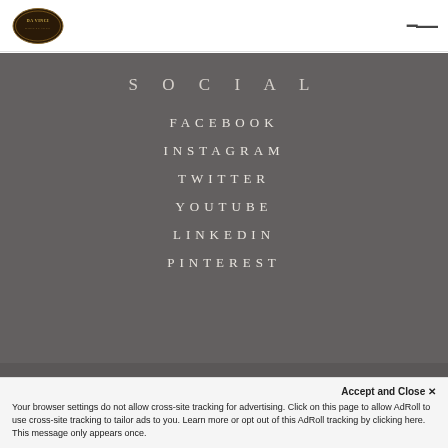DaVinci Roofscapes logo and navigation menu
SOCIAL
FACEBOOK
INSTAGRAM
TWITTER
YOUTUBE
LINKEDIN
PINTEREST
© WESTLAKE DAVINCI ROOFSCAPES LLC 2022 ALL RIGHTS RESERVED
Accept and Close ✕ Your browser settings do not allow cross-site tracking for advertising. Click on this page to allow AdRoll to use cross-site tracking to tailor ads to you. Learn more or opt out of this AdRoll tracking by clicking here. This message only appears once.